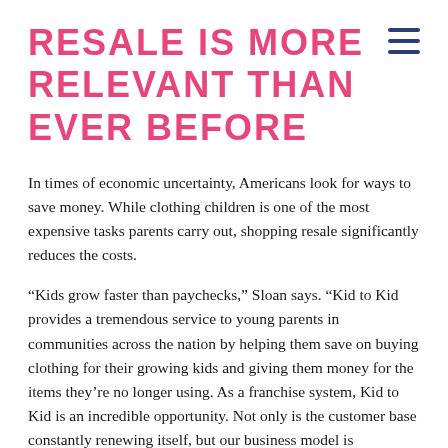RESALE IS MORE RELEVANT THAN EVER BEFORE
In times of economic uncertainty, Americans look for ways to save money. While clothing children is one of the most expensive tasks parents carry out, shopping resale significantly reduces the costs.
“Kids grow faster than paychecks,” Sloan says. “Kid to Kid provides a tremendous service to young parents in communities across the nation by helping them save on buying clothing for their growing kids and giving them money for the items they’re no longer using. As a franchise system, Kid to Kid is an incredible opportunity. Not only is the customer base constantly renewing itself, but our business model is recession-resistant and minimizes our impact on the environment. This business is a win-win for franchisees and their customers alike.”